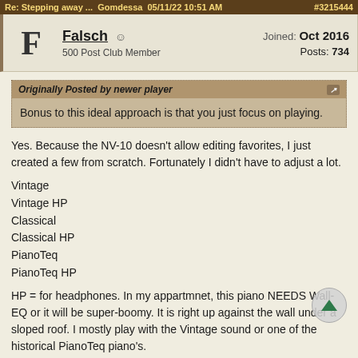Re: Stepping away ... Gomdessa 05/11/22 10:51 AM #3215444
Falsch  500 Post Club Member  Joined: Oct 2016  Posts: 734
Originally Posted by newer player
Bonus to this ideal approach is that you just focus on playing.
Yes. Because the NV-10 doesn't allow editing favorites, I just created a few from scratch. Fortunately I didn't have to adjust a lot.
Vintage
Vintage HP
Classical
Classical HP
PianoTeq
PianoTeq HP
HP = for headphones. In my appartmnet, this piano NEEDS Wall-EQ or it will be super-boomy. It is right up against the wall under a sloped roof. I mostly play with the Vintage sound or one of the historical PianoTeq piano's.